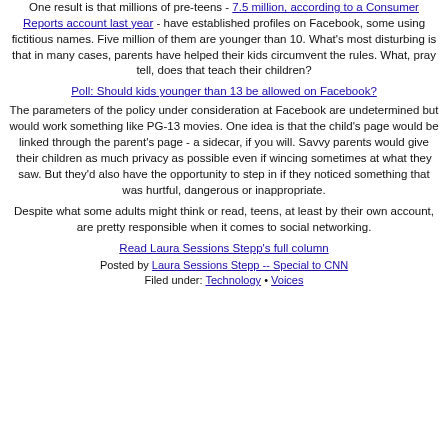One result is that millions of pre-teens - 7.5 million, according to a Consumer Reports account last year - have established profiles on Facebook, some using fictitious names. Five million of them are younger than 10. What's most disturbing is that in many cases, parents have helped their kids circumvent the rules. What, pray tell, does that teach their children?
Poll: Should kids younger than 13 be allowed on Facebook?
The parameters of the policy under consideration at Facebook are undetermined but would work something like PG-13 movies. One idea is that the child's page would be linked through the parent's page - a sidecar, if you will. Savvy parents would give their children as much privacy as possible even if wincing sometimes at what they saw. But they'd also have the opportunity to step in if they noticed something that was hurtful, dangerous or inappropriate.
Despite what some adults might think or read, teens, at least by their own account, are pretty responsible when it comes to social networking.
Read Laura Sessions Stepp's full column
Posted by Laura Sessions Stepp -- Special to CNN
Filed under: Technology • Voices